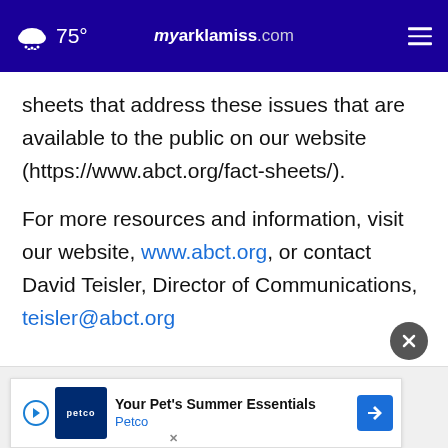75° myarklamiss.com
sheets that address these issues that are available to the public on our website (https://www.abct.org/fact-sheets/).
For more resources and information, visit our website, www.abct.org, or contact David Teisler, Director of Communications, teisler@abct.org
David Teisler, CAE
ABCT
[Figure (screenshot): Petco advertisement banner: Your Pet's Summer Essentials - Petco]